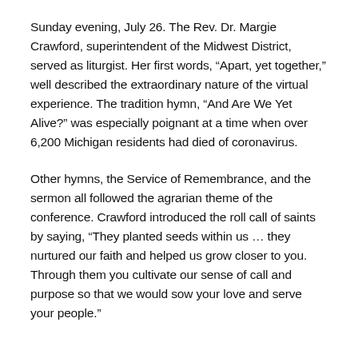Sunday evening, July 26. The Rev. Dr. Margie Crawford, superintendent of the Midwest District, served as liturgist. Her first words, “Apart, yet together,” well described the extraordinary nature of the virtual experience. The tradition hymn, “And Are We Yet Alive?” was especially poignant at a time when over 6,200 Michigan residents had died of coronavirus.
Other hymns, the Service of Remembrance, and the sermon all followed the agrarian theme of the conference. Crawford introduced the roll call of saints by saying, “They planted seeds within us … they nurtured our faith and helped us grow closer to you. Through them you cultivate our sense of call and purpose so that we would sow your love and serve your people.”